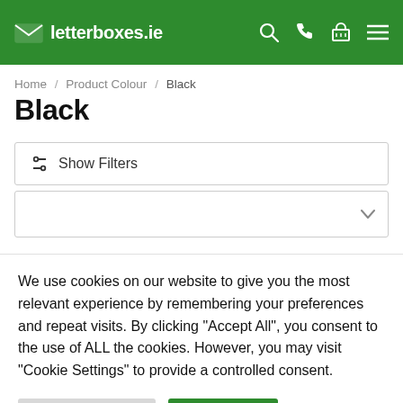letterboxes.ie
Home / Product Colour / Black
Black
Show Filters
We use cookies on our website to give you the most relevant experience by remembering your preferences and repeat visits. By clicking "Accept All", you consent to the use of ALL the cookies. However, you may visit "Cookie Settings" to provide a controlled consent.
Cookie Settings | Accept All